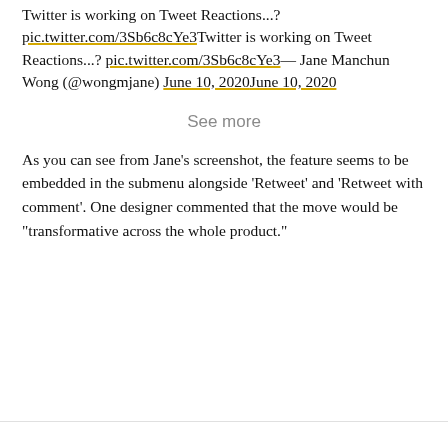Twitter is working on Tweet Reactions...? pic.twitter.com/3Sb6c8cYe3Twitter is working on Tweet Reactions...? pic.twitter.com/3Sb6c8cYe3— Jane Manchun Wong (@wongmjane) June 10, 2020June 10, 2020
See more
As you can see from Jane's screenshot, the feature seems to be embedded in the submenu alongside 'Retweet' and 'Retweet with comment'. One designer commented that the move would be "transformative across the whole product."